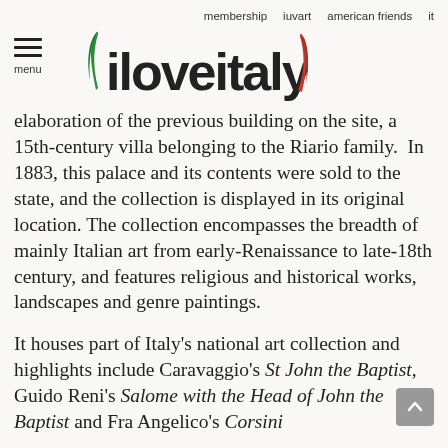membership   iuvart   american friends   it
[Figure (logo): iloveitaly logo with green and red brush strokes flanking the text]
elaboration of the previous building on the site, a 15th-century villa belonging to the Riario family.  In 1883, this palace and its contents were sold to the state, and the collection is displayed in its original location. The collection encompasses the breadth of mainly Italian art from early-Renaissance to late-18th century, and features religious and historical works, landscapes and genre paintings.
It houses part of Italy's national art collection and highlights include Caravaggio's St John the Baptist, Guido Reni's Salome with the Head of John the Baptist and Fra Angelico's Corsini